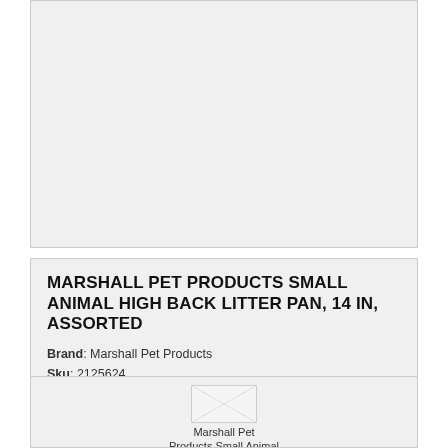MARSHALL PET PRODUCTS SMALL ANIMAL HIGH BACK LITTER PAN, 14 IN, ASSORTED
Brand: Marshall Pet Products
Sku: 2125624
14L X 12W X 7H. Easy to clean plastic litter pan has high back to contain scatter and a low front for easy access. Fits most large sized cages. Assorted colors - let us choose....
PRICING & INFO
$9.49
[Figure (other): 3 filled orange stars and 2 empty gray stars rating display]
[Figure (photo): Marshall Pet Products Small Animal product image (partially visible at bottom of page)]